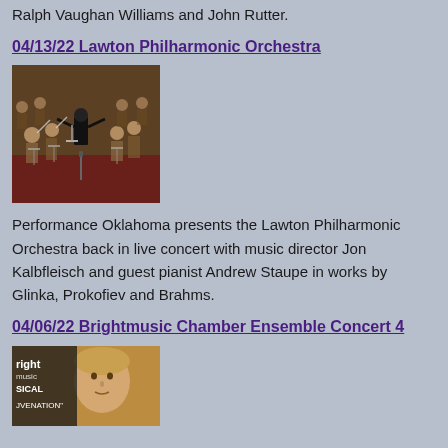Ralph Vaughan Williams and John Rutter.
04/13/22 Lawton Philharmonic Orchestra
[Figure (photo): Orchestra concert photo showing a conductor with back to camera, arms raised, with musicians playing string instruments in background on a stage with red floor]
Performance Oklahoma presents the Lawton Philharmonic Orchestra back in live concert with music director Jon Kalbfleisch and guest pianist Andrew Staupe in works by Glinka, Prokofiev and Brahms.
04/06/22 Brightmusic Chamber Ensemble Concert 4
[Figure (photo): Promotional image for Brightmusic Chamber Ensemble Concert 4 showing a blond male musician with text overlay reading 'rightmusic', 'SICAL', 'JUVENATION' on the left side]